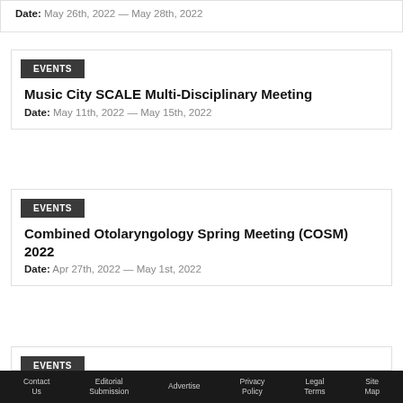Date: May 26th, 2022 — May 28th, 2022
EVENTS
Music City SCALE Multi-Disciplinary Meeting
Date: May 11th, 2022 — May 15th, 2022
EVENTS
Combined Otolaryngology Spring Meeting (COSM) 2022
Date: Apr 27th, 2022 — May 1st, 2022
EVENTS
Contact Us | Editorial Submission | Advertise | Privacy Policy | Legal Terms | Site Map